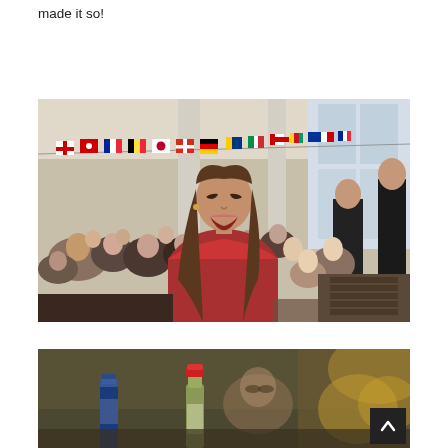made it so!
[Figure (photo): Indoor event photo showing a crowd of young people watching something off-screen. A woman in a red top in the foreground is laughing and looking up. International flags hang as bunting decorations across the ceiling. The venue looks like an open-plan office or event space with large windows.]
[Figure (photo): Partial photo of another indoor scene, showing bottles (one with a red cap) on a table and people in the background, cropped at the bottom of the page. A dark scroll-to-top button with an upward arrow is visible in the lower right.]